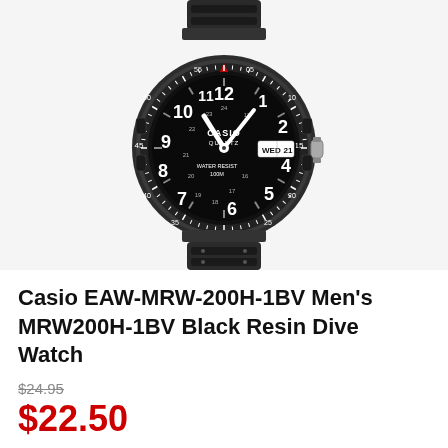[Figure (photo): Casio black resin dive watch (MRW-200H-1BV) with black bezel showing minute markers (5, 10, 15, 20, 25, 30, 35, 40, 45, 50, 55), large white Arabic numerals on black dial, day-date display showing WED 21, CASIO QUARTZ branding, WATER RESIST 100M text, white hands, red triangle marker at 12 o'clock on bezel, silver crown on right side, black resin band with segmented links.]
Casio EAW-MRW-200H-1BV Men's MRW200H-1BV Black Resin Dive Watch
$24.95
$22.50